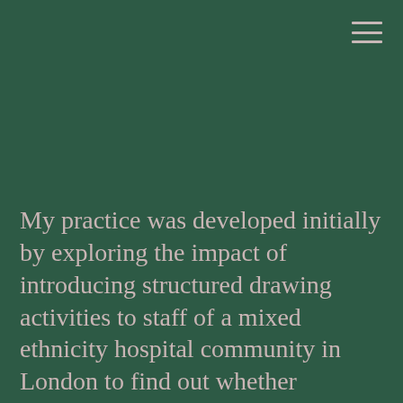[Figure (other): Dark green background filling the upper portion of the page with a hamburger menu icon in the top-right corner]
My practice was developed initially by exploring the impact of introducing structured drawing activities to staff of a mixed ethnicity hospital community in London to find out whether